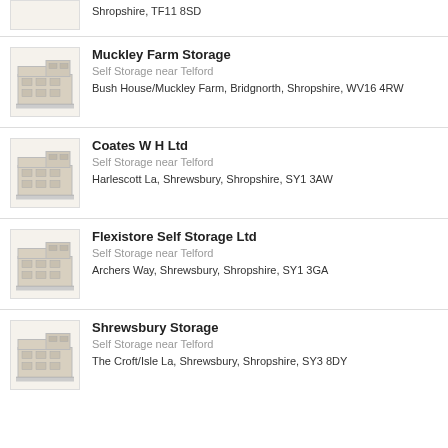Shropshire, TF11 8SD
[Figure (illustration): Building/warehouse icon placeholder]
Muckley Farm Storage
Self Storage near Telford
Bush House/Muckley Farm, Bridgnorth, Shropshire, WV16 4RW
[Figure (illustration): Building/warehouse icon placeholder]
Coates W H Ltd
Self Storage near Telford
Harlescott La, Shrewsbury, Shropshire, SY1 3AW
[Figure (illustration): Building/warehouse icon placeholder]
Flexistore Self Storage Ltd
Self Storage near Telford
Archers Way, Shrewsbury, Shropshire, SY1 3GA
[Figure (illustration): Building/warehouse icon placeholder]
Shrewsbury Storage
Self Storage near Telford
The Croft/Isle La, Shrewsbury, Shropshire, SY3 8DY